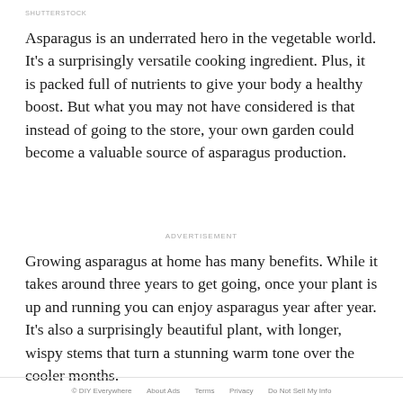SHUTTERSTOCK
Asparagus is an underrated hero in the vegetable world. It's a surprisingly versatile cooking ingredient. Plus, it is packed full of nutrients to give your body a healthy boost. But what you may not have considered is that instead of going to the store, your own garden could become a valuable source of asparagus production.
ADVERTISEMENT
Growing asparagus at home has many benefits. While it takes around three years to get going, once your plant is up and running you can enjoy asparagus year after year. It's also a surprisingly beautiful plant, with longer, wispy stems that turn a stunning warm tone over the cooler months.
© DIY Everywhere   About Ads   Terms   Privacy   Do Not Sell My Info